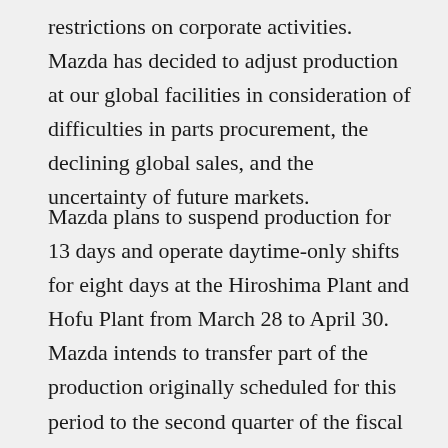restrictions on corporate activities. Mazda has decided to adjust production at our global facilities in consideration of difficulties in parts procurement, the declining global sales, and the uncertainty of future markets.
Mazda plans to suspend production for 13 days and operate daytime-only shifts for eight days at the Hiroshima Plant and Hofu Plant from March 28 to April 30. Mazda intends to transfer part of the production originally scheduled for this period to the second quarter of the fiscal year ending March 2021 or later as we monitor how the situation develops. During this period, administrative operations will be undertaken as usual.
Outside Japan, Mazda de Mexico Vehicle Operation, our production site in Mexico, will shut down for